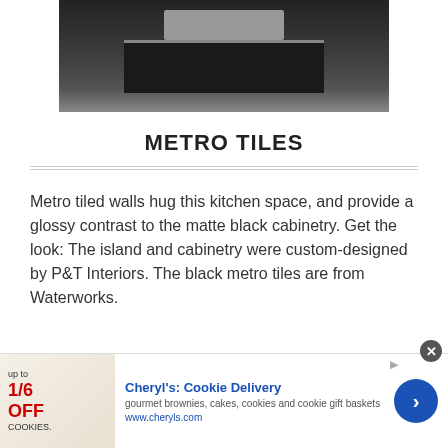[Figure (photo): Kitchen interior showing a dark matte black island and cabinetry against metro tiled walls]
METRO TILES
Metro tiled walls hug this kitchen space, and provide a glossy contrast to the matte black cabinetry. Get the look: The island and cabinetry were custom-designed by P&T Interiors. The black metro tiles are from Waterworks.
[Figure (screenshot): Advertisement for Cheryl's: Cookie Delivery - gourmet brownies, cakes, cookies and cookie gift baskets, www.cheryls.com]